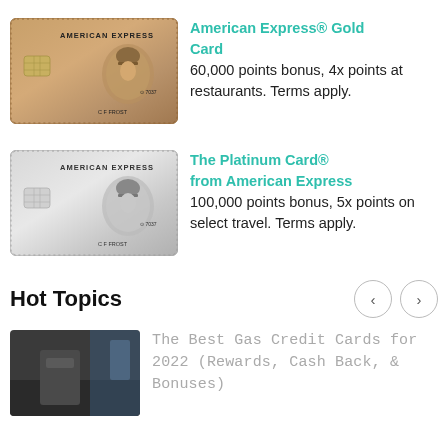[Figure (photo): American Express Gold Card image]
American Express® Gold Card
60,000 points bonus, 4x points at restaurants. Terms apply.
[Figure (photo): The Platinum Card® from American Express card image]
The Platinum Card® from American Express
100,000 points bonus, 5x points on select travel. Terms apply.
Hot Topics
[Figure (photo): Photo related to gas credit cards article]
The Best Gas Credit Cards for 2022 (Rewards, Cash Back, & Bonuses)